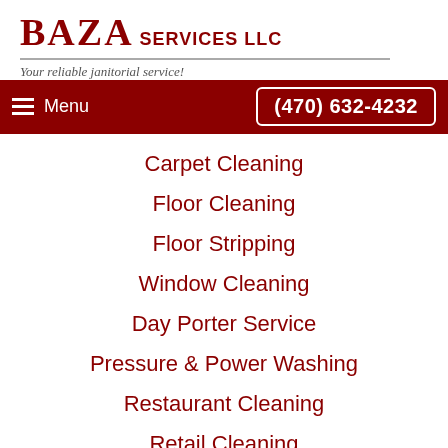BAZA SERVICES LLC
Your reliable janitorial service!
Menu  (470) 632-4232
Carpet Cleaning
Floor Cleaning
Floor Stripping
Window Cleaning
Day Porter Service
Pressure & Power Washing
Restaurant Cleaning
Retail Cleaning
Landscaping
Green Cleaning